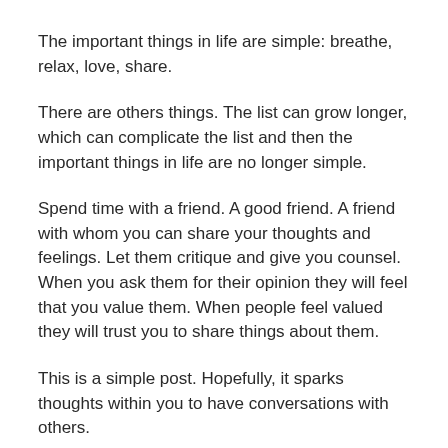The important things in life are simple: breathe, relax, love, share.
There are others things. The list can grow longer, which can complicate the list and then the important things in life are no longer simple.
Spend time with a friend. A good friend. A friend with whom you can share your thoughts and feelings. Let them critique and give you counsel. When you ask them for their opinion they will feel that you value them. When people feel valued they will trust you to share things about them.
This is a simple post. Hopefully, it sparks thoughts within you to have conversations with others.